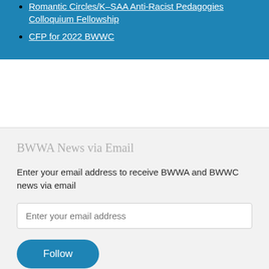Romantic Circles/K-SAA Anti-Racist Pedagogies Colloquium Fellowship
CFP for 2022 BWWC
BWWA News via Email
Enter your email address to receive BWWA and BWWC news via email
Enter your email address
Follow